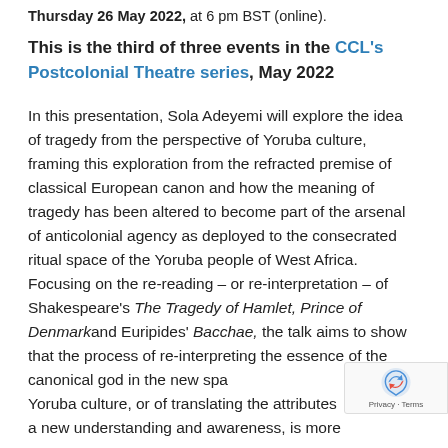Thursday 26 May 2022, at 6 pm BST (online).
This is the third of three events in the CCL's Postcolonial Theatre series, May 2022
In this presentation, Sola Adeyemi will explore the idea of tragedy from the perspective of Yoruba culture, framing this exploration from the refracted premise of classical European canon and how the meaning of tragedy has been altered to become part of the arsenal of anticolonial agency as deployed to the consecrated ritual space of the Yoruba people of West Africa. Focusing on the re-reading – or re-interpretation – of Shakespeare's The Tragedy of Hamlet, Prince of Denmark and Euripides' Bacchae, the talk aims to show that the process of re-interpreting the essence of the canonical god in the new space of Yoruba culture, or of translating the attributes of a new understanding and awareness, is more